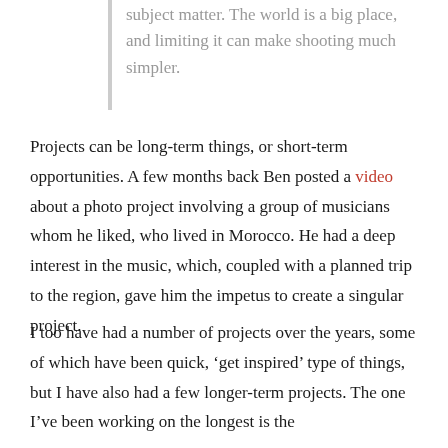subject matter. The world is a big place, and limiting it can make shooting much simpler.
Projects can be long-term things, or short-term opportunities. A few months back Ben posted a video about a photo project involving a group of musicians whom he liked, who lived in Morocco. He had a deep interest in the music, which, coupled with a planned trip to the region, gave him the impetus to create a singular project.
I too have had a number of projects over the years, some of which have been quick, ‘get inspired’ type of things, but I have also had a few longer-term projects. The one I’ve been working on the longest is the